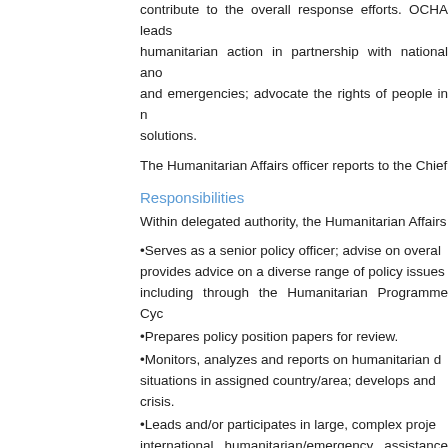contribute to the overall response efforts. OCHA leads humanitarian action in partnership with national and and emergencies; advocate the rights of people in need solutions.
The Humanitarian Affairs officer reports to the Chief
Responsibilities
Within delegated authority, the Humanitarian Affairs
Serves as a senior policy officer; advise on overall provides advice on a diverse range of policy issues including through the Humanitarian Programme Cyc
Prepares policy position papers for review.
Monitors, analyzes and reports on humanitarian d situations in assigned country/area; develops and crisis.
Leads and/or participates in large, complex proje international humanitarian/emergency assistance fo (e.g. staff, funding, specialized equipment, suppli apprising of situation to date and specifying unmet n
Assists in the production of appeals for interna